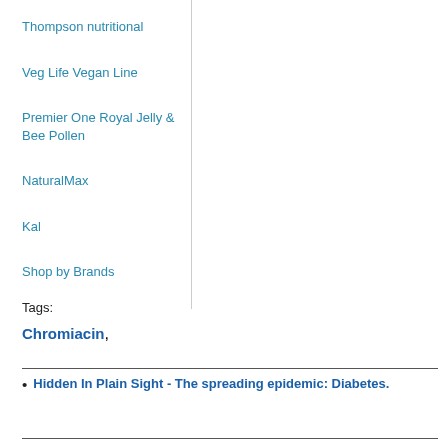Thompson nutritional
Veg Life Vegan Line
Premier One Royal Jelly & Bee Pollen
NaturalMax
Kal
Shop by Brands
Tags:
Chromiacin,
Hidden In Plain Sight - The spreading epidemic: Diabetes.